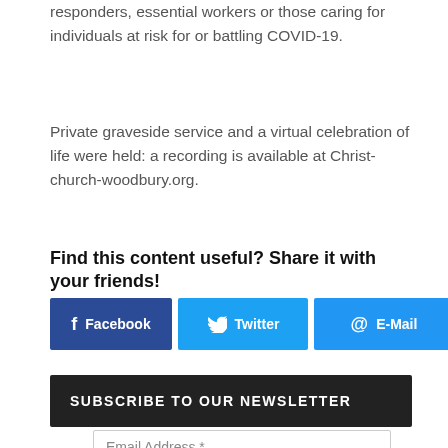responders, essential workers or those caring for individuals at risk for or battling COVID-19.
Private graveside service and a virtual celebration of life were held: a recording is available at Christ-church-woodbury.org.
Find this content useful? Share it with your friends!
[Figure (other): Share buttons: Facebook, Twitter, E-Mail, LinkedIn]
SUBSCRIBE TO OUR NEWSLETTER
Email Address *